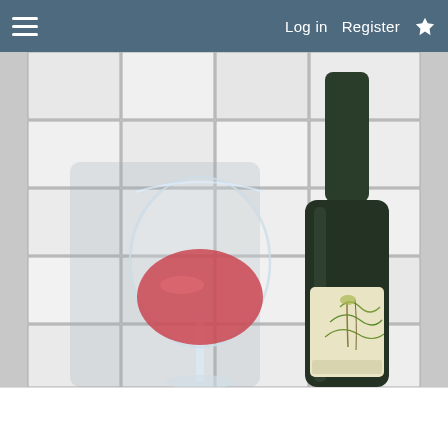Log in  Register
[Figure (photo): A glass of rosé wine next to a dark wine bottle with a decorative illustrated label, set against a white tile background.]
Report Ad